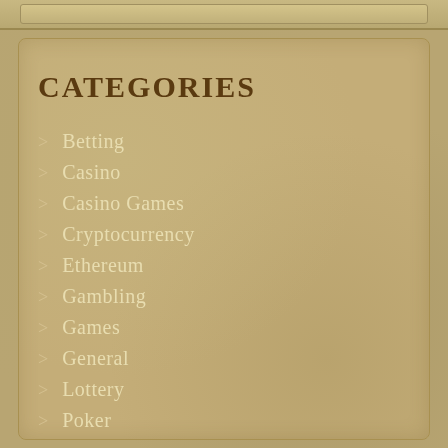CATEGORIES
Betting
Casino
Casino Games
Cryptocurrency
Ethereum
Gambling
Games
General
Lottery
Poker